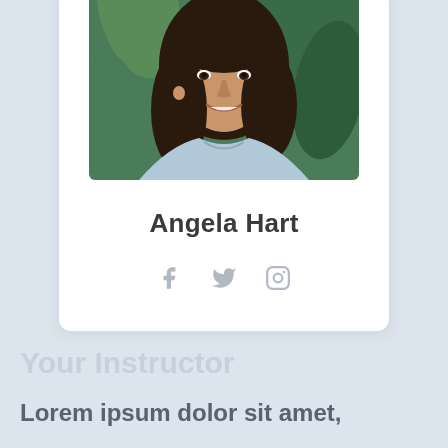[Figure (photo): Profile photo of Angela Hart, a young woman with long brown hair, smiling, wearing a light blue top, photographed against a green leafy background.]
Angela Hart
[Figure (infographic): Social media icons: Facebook (f), Twitter (bird), Instagram (camera outline), rendered in light gray.]
Your Instructor
Lorem ipsum dolor sit amet,